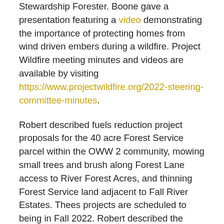Stewardship Forester.  Boone gave a presentation featuring a video demonstrating the importance of protecting homes from wind driven embers during a wildfire. Project Wildfire meeting minutes and videos are available by visiting https://www.projectwildfire.org/2022-steering-committee-minutes.
Robert described fuels reduction project proposals for the 40 acre Forest Service parcel within the OWW 2 community, mowing small trees and brush along Forest Lane access to River Forest Acres, and thinning Forest Service land adjacent to Fall River Estates. Thees projects are scheduled to being in Fall 2022. Robert described the partnership with Oregon Department of Forestry implementing a 3000 acre fuels rMaeduction project in progress North of South